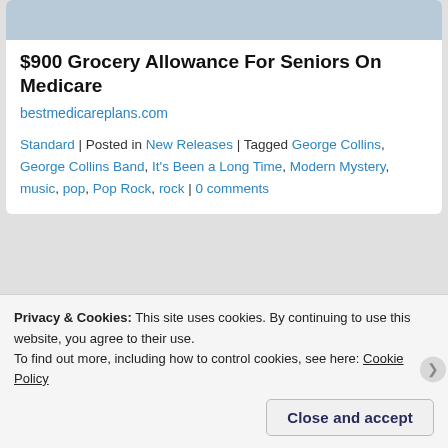[Figure (photo): Partial top portion of an image, cropped, showing a person on a scooter or wheelchair]
$900 Grocery Allowance For Seniors On Medicare
bestmedicareplans.com
Standard | Posted in New Releases | Tagged George Collins, George Collins Band, It's Been a Long Time, Modern Mystery, music, pop, Pop Rock, rock | 0 comments
[Figure (photo): Partial album art image with purple, pink, green colors and a green button]
Privacy & Cookies: This site uses cookies. By continuing to use this website, you agree to their use.
To find out more, including how to control cookies, see here: Cookie Policy
Close and accept